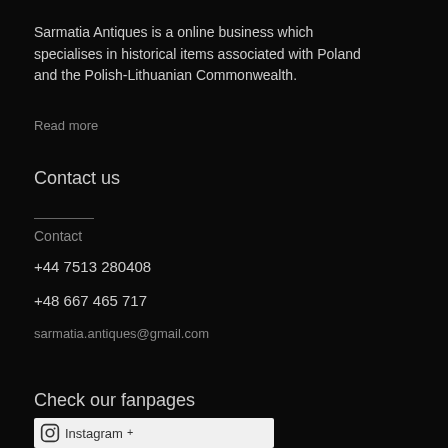Sarmatia Antiques is a online business which specialises in historical items associated with Poland and the Polish-Lithuanian Commonwealth.
Read more
Contact us
Contact
+44 7513 280408
+48 667 465 717
sarmatia.antiques@gmail.com
Check our fanpages
[Figure (logo): Instagram logo/button partial view at bottom of page]